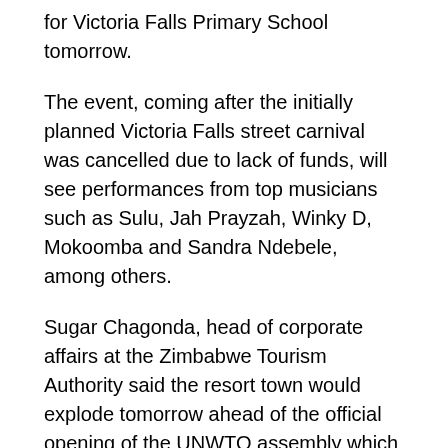for Victoria Falls Primary School tomorrow.
The event, coming after the initially planned Victoria Falls street carnival was cancelled due to lack of funds, will see performances from top musicians such as Sulu, Jah Prayzah, Winky D, Mokoomba and Sandra Ndebele, among others.
Sugar Chagonda, head of corporate affairs at the Zimbabwe Tourism Authority said the resort town would explode tomorrow ahead of the official opening of the UNWTO assembly which starts on Saturday.
“We can safely say that all has been set for the Tourism Night, which is going to feature various artistes from around the country,” he said.
Most of the artistes to perform at the UNWTO gala have promised fireworks.